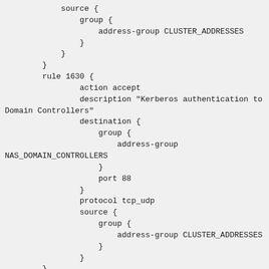source {
    group {
        address-group CLUSTER_ADDRESSES
    }
}
rule 1630 {
    action accept
    description "Kerberos authentication to Domain Controllers"
    destination {
        group {
            address-group
NAS_DOMAIN_CONTROLLERS
        }
        port 88
    }
    protocol tcp_udp
    source {
        group {
            address-group CLUSTER_ADDRESSES
        }
    }
}
rule 1640 {
    action drop
    description "Deny rest of the traffic to NAS"
    destination {
        group {